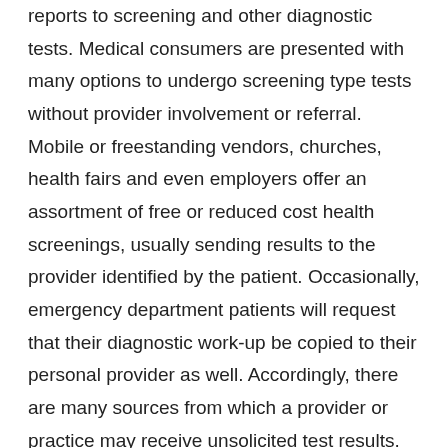reports to screening and other diagnostic tests. Medical consumers are presented with many options to undergo screening type tests without provider involvement or referral. Mobile or freestanding vendors, churches, health fairs and even employers offer an assortment of free or reduced cost health screenings, usually sending results to the provider identified by the patient. Occasionally, emergency department patients will request that their diagnostic work-up be copied to their personal provider as well. Accordingly, there are many sources from which a provider or practice may receive unsolicited test results.
When in receipt of an unsolicited test, be aware that even the non-ordering provider presumably [NEED HELP?] duty to ensure follow-up, depending on the circumstances.